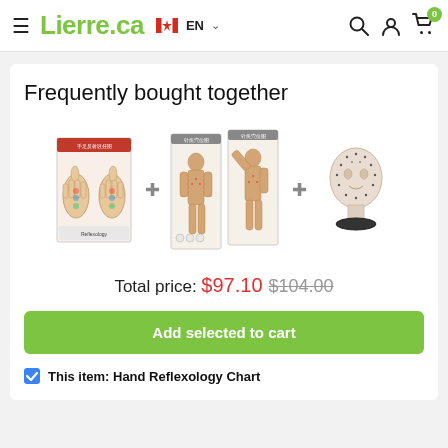Lierre.ca EN
Frequently bought together
[Figure (photo): Three product images side by side: Hand Reflexology Chart poster, Acupuncture chart set (two posters showing human body front and back), and an Acupuncture head model bust]
Total price: $97.10  $104.00
Add selected to cart
This item: Hand Reflexology Chart